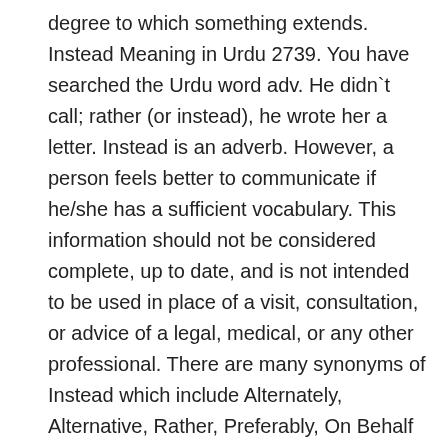degree to which something extends. Instead Meaning in Urdu 2739. You have searched the Urdu word adv. He didn`t call; rather (or instead), he wrote her a letter. Instead is an adverb. However, a person feels better to communicate if he/she has a sufficient vocabulary. This information should not be considered complete, up to date, and is not intended to be used in place of a visit, consultation, or advice of a legal, medical, or any other professional. There are many synonyms of Instead which include Alternately, Alternative, Rather, Preferably, On Behalf Of, As A Substitute, In Place Of, In Preference, On Second Thought, Rather Than, etc. Instead Meaning in Urdu. Could I please have tea instead? adv. if he doesn't come here, I shall go there. synonym is In the place or room; -- usually followed by of. present as well, but not widely used in Urdu . There are 4 different senses of Rather stated below. Felix became a herpetologist instead. "To this extent", Bang-Up Bully Corking Cracking Dandy Great Groovy Keen Neat Nifty Not Bad Peachy Slap-Up Smashing Swell : چٹختا : Chatkhane Ki Awaz : a sudden sharp noise